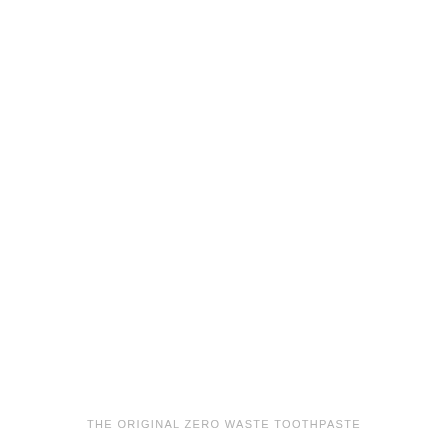THE ORIGINAL ZERO WASTE TOOTHPASTE